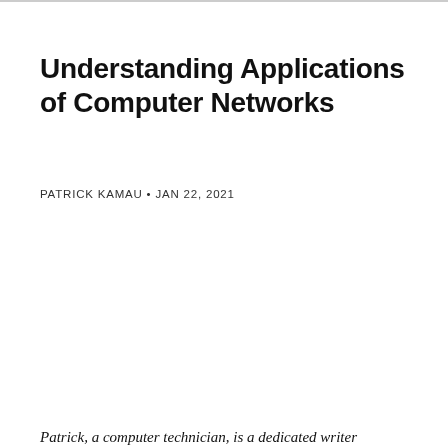Understanding Applications of Computer Networks
PATRICK KAMAU • JAN 22, 2021
Patrick, a computer technician, is a dedicated writer